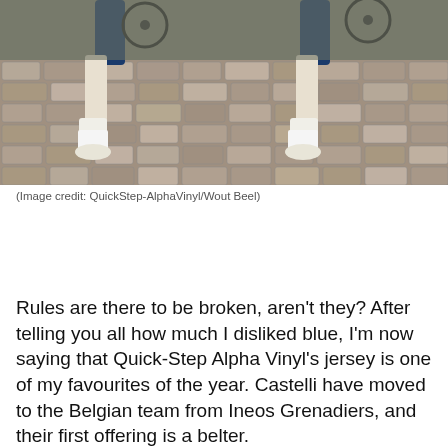[Figure (photo): Two cyclists with Specialized bikes standing on cobblestones, wearing QuickStep-AlphaVinyl team kit (blue/pink). Only lower bodies visible from waist down.]
(Image credit: QuickStep-AlphaVinyl/Wout Beel)
Rules are there to be broken, aren't they? After telling you all how much I disliked blue, I'm now saying that Quick-Step Alpha Vinyl's jersey is one of my favourites of the year. Castelli have moved to the Belgian team from Ineos Grenadiers, and their first offering is a belter.